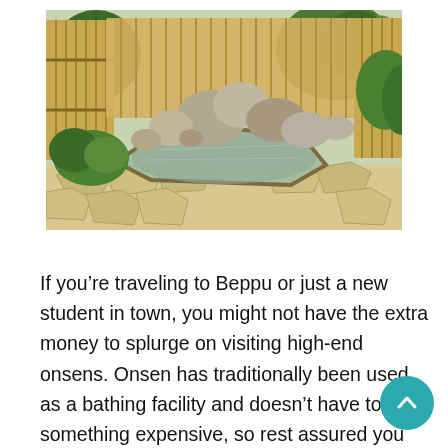[Figure (photo): Outdoor Japanese onsen (hot spring bath) with natural rock borders, steaming water, surrounded by green trees, bamboo fencing, and a stone-paved patio area.]
If you’re traveling to Beppu or just a new student in town, you might not have the extra money to splurge on visiting high-end onsens. Onsen has traditionally been used as a bathing facility and doesn’t have to be something expensive, so rest assured you can still take a relaxing bath with breaking the bank. In this article we will cover two